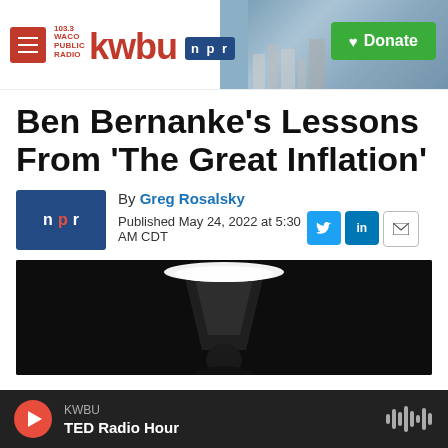103.3 KWBU Waco Public Radio | NPR | Donate
Ben Bernanke's Lessons From 'The Great Inflation'
By Greg Rosalsky
Published May 24, 2022 at 5:30 AM CDT
[Figure (photo): Dark photo of a person on stage with bright spotlight above, likely Ben Bernanke speaking at a podium or event.]
KWBU | TED Radio Hour